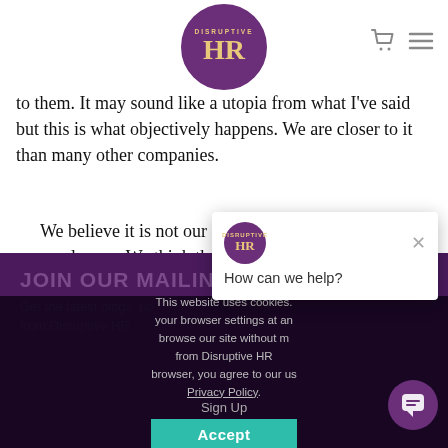Disruptive HR logo with shopping cart and menu icons
to them. It may sound like a utopia from what I've said but this is what objectively happens. We are closer to it than many other companies.
We believe it is not our duty to motivate our employees. We think that is a very paternalistic approach. They should be engaged and self-
[Figure (screenshot): Purple mailing list signup overlay with JOIN OUR MAILING LIST heading and Get the latest blogs, podcasts and resources from Disruptive HR text, partially obscured by cookie consent and chat popups]
This website uses cookies. your browser settings at any browse our site without m from Disruptive HR browser, you agree to our us
Privacy Policy.
Sign Up
Accept
[Figure (screenshot): Chat popup with Disruptive HR logo asking How can we help?]